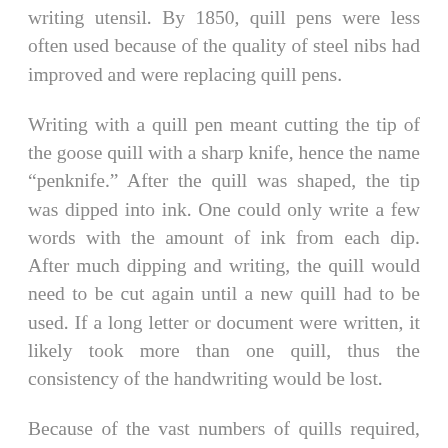writing utensil. By 1850, quill pens were less often used because of the quality of steel nibs had improved and were replacing quill pens.
Writing with a quill pen meant cutting the tip of the goose quill with a sharp knife, hence the name "penknife." After the quill was shaped, the tip was dipped into ink. One could only write a few words with the amount of ink from each dip. After much dipping and writing, the quill would need to be cut again until a new quill had to be used. If a long letter or document were written, it likely took more than one quill, thus the consistency of the handwriting would be lost.
Because of the vast numbers of quills required, farms were established to raise geese for their quills. The left wing feathers were preferred by right-handed writers because of the curvature of